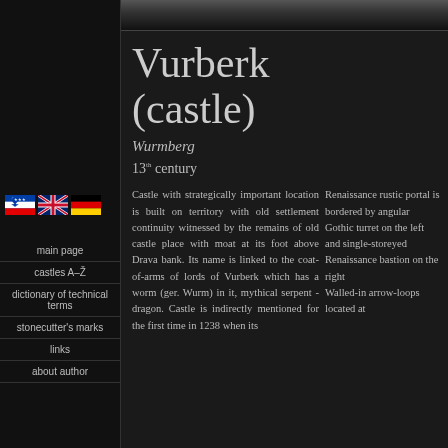[Figure (other): Decorative stone/gravel textured top bar]
Vurberk (castle)
Wurmberg
13th century
[Figure (other): Three national flags: Slovenian, UK, German]
main page
castles A-Ž
dictionary of technical terms
stonecutter's marks
links
about author
Castle with strategically important location is built on territory with old settlement continuity witnessed by the remains of old castle place with moat at its foot above Drava bank. Its name is linked to the coat-of-arms of lords of Vurberk which has a worm (ger. Wurm) in it, mythical serpent - dragon. Castle is indirectly mentioned for the first time in 1238 when its
Renaissance rustic portal is bordered by angular Gothic turret on the left and single-storeyed Renaissance bastion on the right Walled-in arrow-loops located at